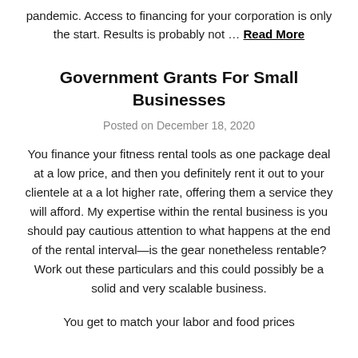pandemic. Access to financing for your corporation is only the start. Results is probably not … Read More
Government Grants For Small Businesses
Posted on December 18, 2020
You finance your fitness rental tools as one package deal at a low price, and then you definitely rent it out to your clientele at a a lot higher rate, offering them a service they will afford. My expertise within the rental business is you should pay cautious attention to what happens at the end of the rental interval—is the gear nonetheless rentable? Work out these particulars and this could possibly be a solid and very scalable business.
You get to match your labor and food prices